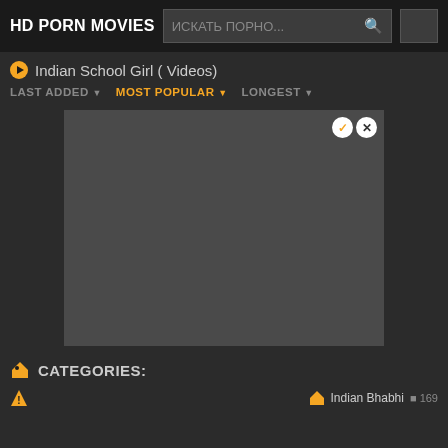HD PORN MOVIES
Indian School Girl ( Videos)
LAST ADDED   MOST POPULAR   LONGEST
[Figure (screenshot): Gray placeholder advertisement or video box with close/check buttons in top right]
CATEGORIES:
Indian Bhabhi